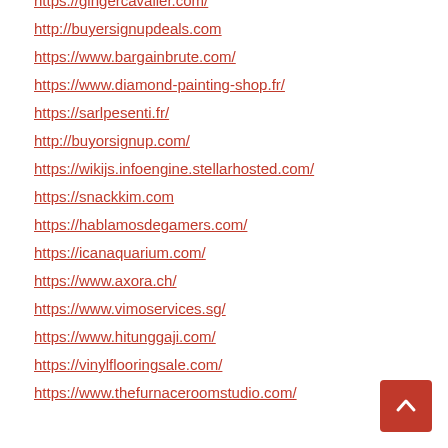https://gingercavalier.com/
http://buyersignupdeals.com
https://www.bargainbrute.com/
https://www.diamond-painting-shop.fr/
https://sarlpesenti.fr/
http://buyorsignup.com/
https://wikijs.infoengine.stellarhosted.com/
https://snackkim.com
https://hablamosdegamers.com/
https://icanaquarium.com/
https://www.axora.ch/
https://www.vimoservices.sg/
https://www.hitunggaji.com/
https://vinylflooringsale.com/
https://www.thefurnaceroomstudio.com/